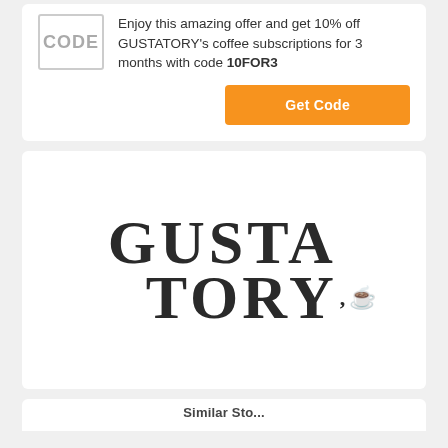[Figure (logo): CODE box — grey bordered box with the word CODE in grey bold text]
Enjoy this amazing offer and get 10% off GUSTATORY's coffee subscriptions for 3 months with code 10FOR3
Get Code
[Figure (logo): GUSTATORY logo in large serif bold uppercase text with a coffee bean icon, split onto two lines: GUSTA / TORY,]
Similar Sto...